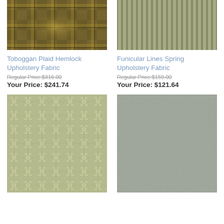[Figure (photo): Toboggan Plaid Hemlock upholstery fabric swatch - dark golden/olive plaid pattern]
[Figure (photo): Funicular Lines Spring upholstery fabric swatch - olive/sage green vertical stripes]
Toboggan Plaid Hemlock Upholstery Fabric
Regular Price:$316.00
Your Price: $241.74
Funicular Lines Spring Upholstery Fabric
Regular Price:$159.00
Your Price: $121.64
[Figure (photo): Decorative scrollwork/ironwork pattern upholstery fabric - sage green with cream ornamental design]
[Figure (photo): Plain sage green/grey linen-look upholstery fabric swatch]